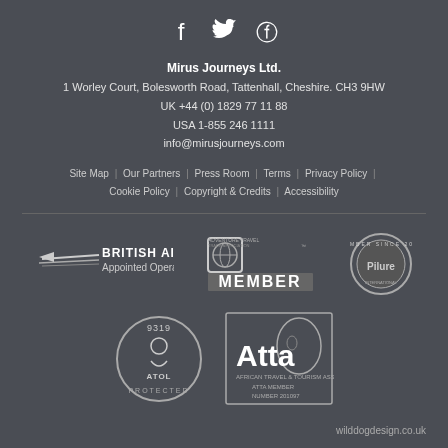[Figure (logo): Social media icons: Facebook, Twitter, Pinterest]
Mirus Journeys Ltd.
1 Worley Court, Bolesworth Road, Tattenhall, Cheshire. CH3 9HW
UK +44 (0) 1829 77 11 88
USA 1-855 246 1111
info@mirusjourneys.com
Site Map | Our Partners | Press Room | Terms | Privacy Policy | Cookie Policy | Copyright & Credits | Accessibility
[Figure (logo): British Airways Appointed Operator logo]
[Figure (logo): Adventure Travel Trade Association MEMBER logo]
[Figure (logo): Member Since 2012 circular badge logo]
[Figure (logo): ATOL Protected 9319 circular badge]
[Figure (logo): Atta African Travel and Tourism Association MEMBER NUMBER 201097 logo]
wilddogdesign.co.uk